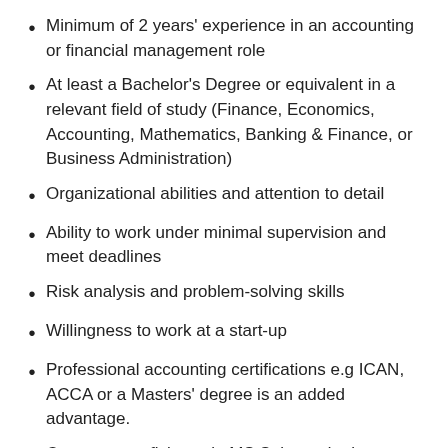Minimum of 2 years' experience in an accounting or financial management role
At least a Bachelor's Degree or equivalent in a relevant field of study (Finance, Economics, Accounting, Mathematics, Banking & Finance, or Business Administration)
Organizational abilities and attention to detail
Ability to work under minimal supervision and meet deadlines
Risk analysis and problem-solving skills
Willingness to work at a start-up
Professional accounting certifications e.g ICAN, ACCA or a Masters' degree is an added advantage.
Computer proficiency in MS Suite and relevant accounting software
Key experience and knowledge of financial regulations, accounting procedures, practices and